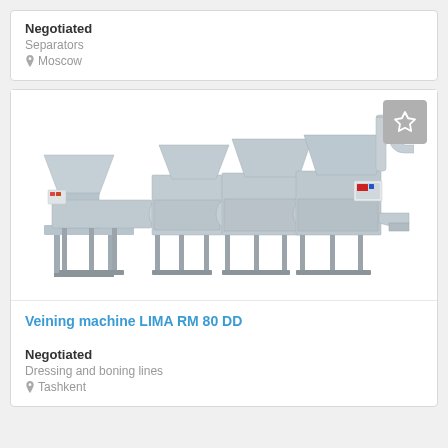Negotiated
Separators
Moscow
[Figure (photo): Industrial veining machine LIMA RM 80 DD — a large grey stainless steel food processing machine with multiple hoppers, conveyors, and output chutes, shown on a white background.]
Veining machine LIMA RM 80 DD
Negotiated
Dressing and boning lines
Tashkent